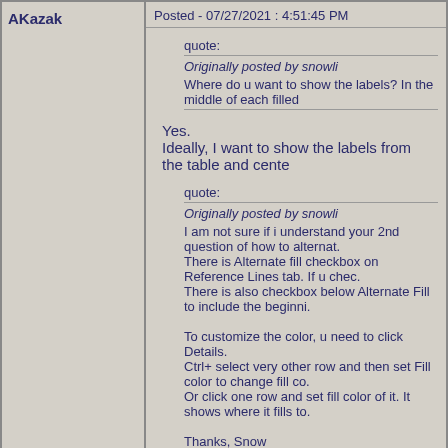AKazak
Posted - 07/27/2021 : 4:51:45 PM
quote:
Originally posted by snowli
Where do u want to show the labels? In the middle of each filled
Yes.
Ideally, I want to show the labels from the table and cente
quote:
Originally posted by snowli
I am not sure if i understand your 2nd question of how to alternat. There is Alternate fill checkbox on Reference Lines tab. If u chec. There is also checkbox below Alternate Fill to include the beginni.

To customize the color, u need to click Details.
Ctrl+ select very other row and then set Fill color to change fill co.
Or click one row and set fill color of it. It shows where it fills to.

Thanks, Snow
I want to automatically assign different distinct color to ea fills.
...